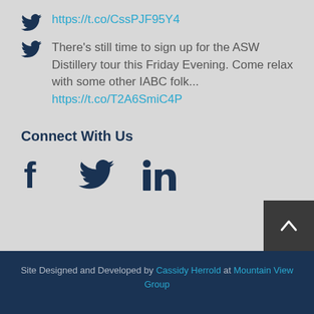https://t.co/CssPJF95Y4
There's still time to sign up for the ASW Distillery tour this Friday Evening. Come relax with some other IABC folk... https://t.co/T2A6SmiC4P
Connect With Us
[Figure (infographic): Social media icons: Facebook (f), Twitter (bird), LinkedIn (in)]
[Figure (other): Back to top arrow button (dark background, white chevron up arrow)]
Site Designed and Developed by Cassidy Herrold at Mountain View Group